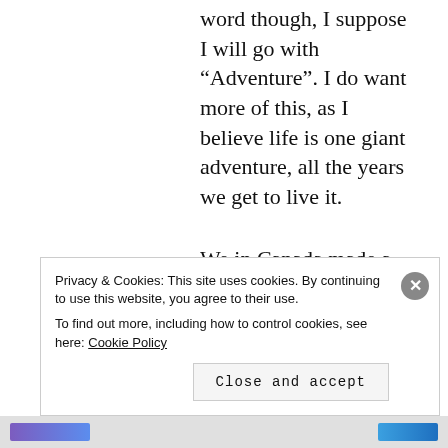word though, I suppose I will go with “Adventure”. I do want more of this, as I believe life is one giant adventure, all the years we get to live it.
We in Canada made a change and took a stand in 2015 and, the question for 2016 is and will be: America, will you?
Okay, so I just went through my
Privacy & Cookies: This site uses cookies. By continuing to use this website, you agree to their use.
To find out more, including how to control cookies, see here: Cookie Policy
Close and accept